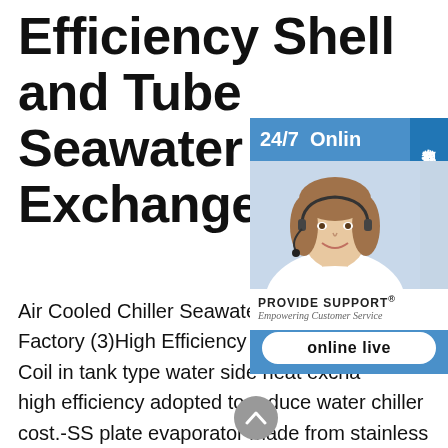Efficiency Shell and Tube Seawater Heat Exchanger
[Figure (photo): 24/7 online live chat widget showing a female customer service agent wearing a headset with PROVIDE SUPPORT branding and an 'online live' button, with Chinese text '在线咨询' on the right tab]
Air Cooled Chiller Seawater Circulating Chiller Factory (3)High Efficiency Water Side Heat Exchanger Coil in tank type water side heat exchanger, high efficiency adopted to reduce water chiller cost.-SS plate evaporator made from stainless steel features a brand-new diagonal design to better utilize heat exchanging surfaces.-Shell and tube evaporator with inner grooved cooper tubes optimizes the